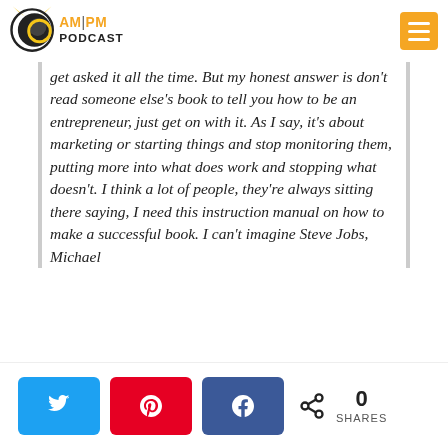AM PM PODCAST
get asked it all the time. But my honest answer is don't read someone else's book to tell you how to be an entrepreneur, just get on with it. As I say, it's about marketing or starting things and stop monitoring them, putting more into what does work and stopping what doesn't. I think a lot of people, they're always sitting there saying, I need this instruction manual on how to make a successful book. I can't imagine Steve Jobs, Michael
0 SHARES